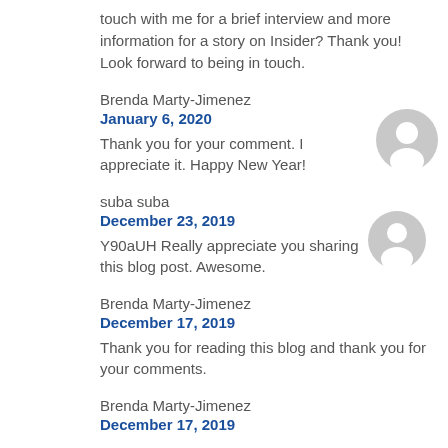touch with me for a brief interview and more information for a story on Insider? Thank you! Look forward to being in touch.
Brenda Marty-Jimenez
January 6, 2020
Thank you for your comment. I appreciate it. Happy New Year!
suba suba
December 23, 2019
Y90aUH Really appreciate you sharing this blog post. Awesome.
Brenda Marty-Jimenez
December 17, 2019
Thank you for reading this blog and thank you for your comments.
Brenda Marty-Jimenez
December 17, 2019